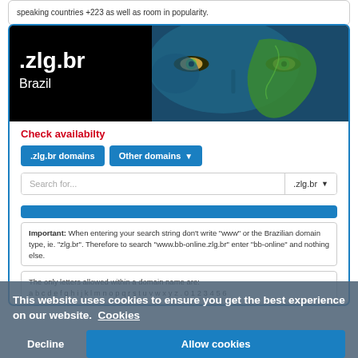speaking countries +223 as well as room in popularity.
[Figure (screenshot): Banner image showing .zlg.br domain page for Brazil, with a face painted with a map of South America on one half, dark background on left with white .zlg.br text and Brazil subtitle]
Check availabilty
.zlg.br domains | Other domains
Search for...  .zlg.br
Important: When entering your search string don't write "www" or the Brazilian domain type, ie. "zlg.br". Therefore to search "www.bb-online.zlg.br" enter "bb-online" and nothing else.
The only letters allowed within a domain name are: a b c d e f g h i j k l m n o p q r s t u v w x y z . 0 1 2 3 4 5 6
This website uses cookies to ensure you get the best experience on our website. Cookies
Decline | Allow cookies